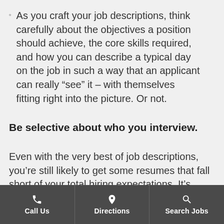As you craft your job descriptions, think carefully about the objectives a position should achieve, the core skills required, and how you can describe a typical day on the job in such a way that an applicant can really “see” it – with themselves fitting right into the picture. Or not.
Be selective about who you interview.
Even with the very best of job descriptions, you’re still likely to get some resumes that fall short of your total hiring expectations. It’s more efficient to interview the right candidates than trying to hit a quota by meeting with a larger number of them, even if you feel strongly that some won’t be a good fit.
Call Us | Directions | Search Jobs